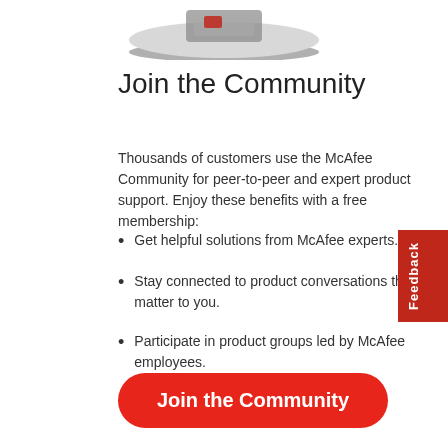[Figure (illustration): Partial illustration of a person or community graphic at the top of the page, showing the bottom portion of a circular image with grey/dark tones]
Join the Community
Thousands of customers use the McAfee Community for peer-to-peer and expert product support. Enjoy these benefits with a free membership:
Get helpful solutions from McAfee experts.
Stay connected to product conversations that matter to you.
Participate in product groups led by McAfee employees.
[Figure (other): Red 'Join the Community' button with rounded corners]
Feedback